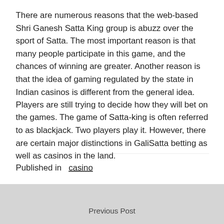There are numerous reasons that the web-based Shri Ganesh Satta King group is abuzz over the sport of Satta. The most important reason is that many people participate in this game, and the chances of winning are greater. Another reason is that the idea of gaming regulated by the state in Indian casinos is different from the general idea. Players are still trying to decide how they will bet on the games. The game of Satta-king is often referred to as blackjack. Two players play it. However, there are certain major distinctions in GaliSatta betting as well as casinos in the land.
Published in  casino
Previous Post